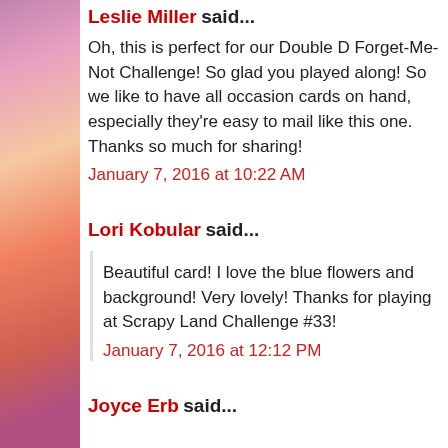Leslie Miller said...
Oh, this is perfect for our Double D Forget-Me-Not Challenge! So glad you played along! So we like to have all occasion cards on hand, especially they're easy to mail like this one. Thanks so much for sharing!
January 7, 2016 at 10:22 AM
Lori Kobular said...
Beautiful card! I love the blue flowers and background! Very lovely! Thanks for playing at Scrapy Land Challenge #33!
January 7, 2016 at 12:12 PM
Joyce Erb said...